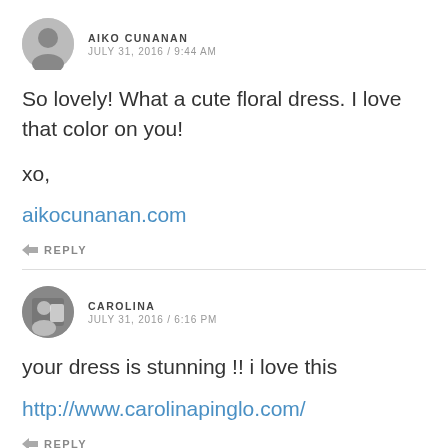AIKO CUNANAN
JULY 31, 2016 / 9:44 AM
So lovely! What a cute floral dress. I love that color on you!

xo,

aikocunanan.com
REPLY
CAROLINA
JULY 31, 2016 / 6:16 PM
your dress is stunning !! i love this

http://www.carolinapinglo.com/
REPLY